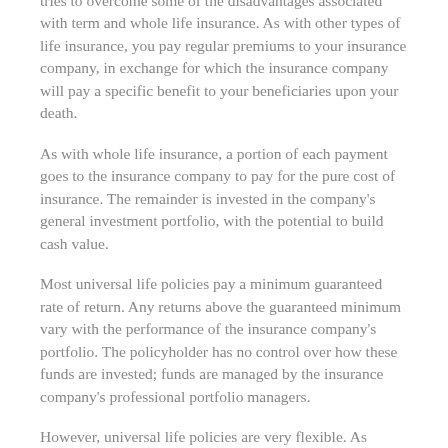tries to overcome some of the disadvantages associated with term and whole life insurance. As with other types of life insurance, you pay regular premiums to your insurance company, in exchange for which the insurance company will pay a specific benefit to your beneficiaries upon your death.
As with whole life insurance, a portion of each payment goes to the insurance company to pay for the pure cost of insurance. The remainder is invested in the company's general investment portfolio, with the potential to build cash value.
Most universal life policies pay a minimum guaranteed rate of return. Any returns above the guaranteed minimum vary with the performance of the insurance company's portfolio. The policyholder has no control over how these funds are invested; funds are managed by the insurance company's professional portfolio managers.
However, universal life policies are very flexible. As